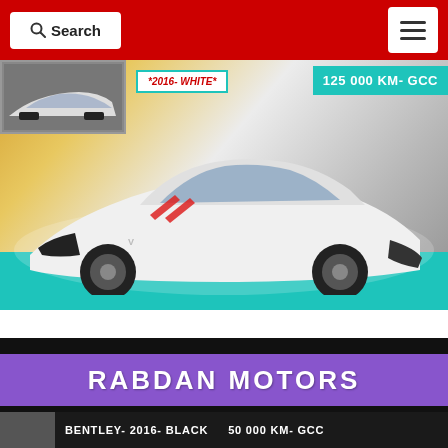Search  [menu icon]
[Figure (photo): White Chevrolet Corvette Stingray sports car photographed from front-three-quarter angle, displayed on a car listing page. Small thumbnail of car front in upper left. Year/color tag reads '2016- WHITE'. Badge reads '125 000 KM- GCC'. Background has golden and teal tones.]
125 000 KM- GCC
2016- WHITE
[Figure (photo): Dark background with purple banner showing 'RABDAN MOTORS' text in white bold uppercase letters. Dealer branding block for Rabdan Motors.]
RABDAN MOTORS
BENTLEY- 2016- BLACK   50 000 KM- GCC